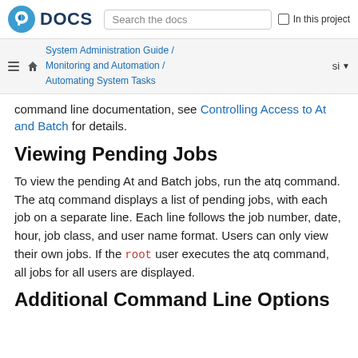Fedora DOCS | Search the docs | In this project
System Administration Guide / Monitoring and Automation / Automating System Tasks
command line documentation, see Controlling Access to At and Batch for details.
Viewing Pending Jobs
To view the pending At and Batch jobs, run the atq command. The atq command displays a list of pending jobs, with each job on a separate line. Each line follows the job number, date, hour, job class, and user name format. Users can only view their own jobs. If the root user executes the atq command, all jobs for all users are displayed.
Additional Command Line Options